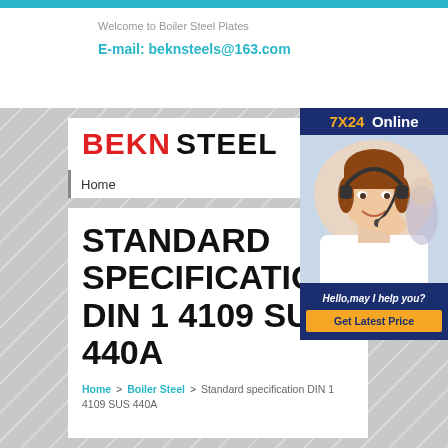Welcome to Boiler Steel Plates
E-mail: beknsteels@163.com
[Figure (logo): BEKN STEEL company logo with BEKN in red and STEEL in black bold text]
Home
STANDARD SPECIFICATION DIN 1 4109 SUS 440A
Home > Boiler Steel > Standard specification DIN 1 4109 SUS 440A
[Figure (illustration): 7X24 Online sidebar ad with customer service representative wearing headset. Hello, may I help you? Get Latest Price button.]